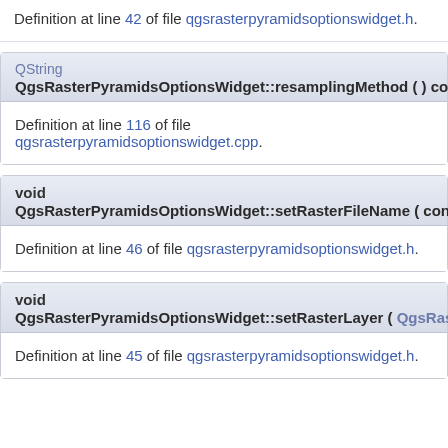Definition at line 42 of file qgsrasterpyramidsoptionswidget.h.
QString QgsRasterPyramidsOptionsWidget::resamplingMethod ( ) const
Definition at line 116 of file qgsrasterpyramidsoptionswidget.cpp.
void QgsRasterPyramidsOptionsWidget::setRasterFileName ( const Q...
Definition at line 46 of file qgsrasterpyramidsoptionswidget.h.
void QgsRasterPyramidsOptionsWidget::setRasterLayer ( QgsRaster...
Definition at line 45 of file qgsrasterpyramidsoptionswidget.h.